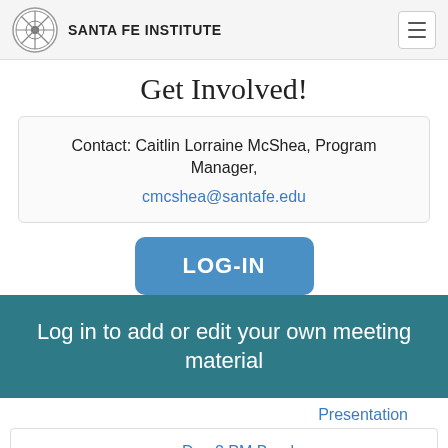SANTA FE INSTITUTE
Get Involved!
Contact: Caitlin Lorraine McShea, Program Manager, cmcshea@santafe.edu
LOG-IN
Log in to add or edit your own meeting material
Presentation
3:00 pm - 3:30 pm    Day 2 PM Break